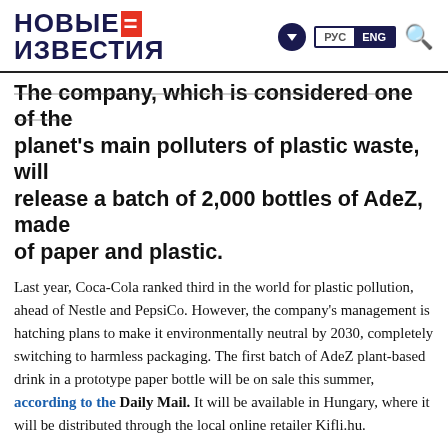НОВЫЕ=ИЗВЕСТИЯ | РУС ENG
The company, which is considered one of the planet's main polluters of plastic waste, will release a batch of 2,000 bottles of AdeZ, made of paper and plastic.
Last year, Coca-Cola ranked third in the world for plastic pollution, ahead of Nestle and PepsiCo. However, the company's management is hatching plans to make it environmentally neutral by 2030, completely switching to harmless packaging. The first batch of AdeZ plant-based drink in a prototype paper bottle will be on sale this summer, according to the Daily Mail. It will be available in Hungary, where it will be distributed through the local online retailer Kifli.hu.
The prototype, which Danish start-up Paper Bottle is still working on, will be made from sustainable wood, manufactured in a way that does not allow liquids or gases to pass through. This will be achieved due to the fact